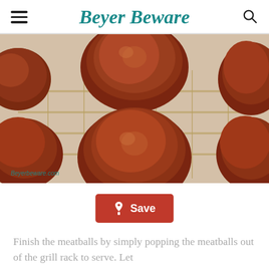Beyer Beware
[Figure (photo): Meatballs sitting on a wire grill rack, browned and cooked, with watermark text 'Beyerbeware.com' in the bottom left corner.]
Save
Finish the meatballs by simply popping the meatballs out of the grill rack to serve. Let